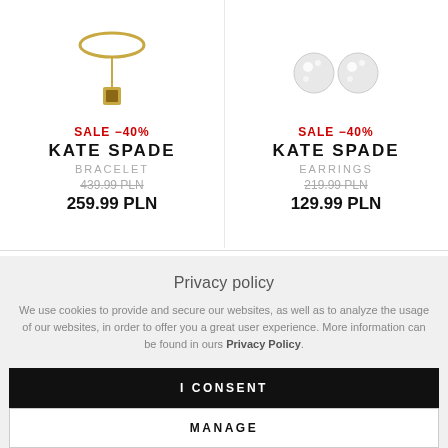[Figure (photo): Gold necklace/bracelet with pendant - Kate Spade product image]
SALE -40%
KATE SPADE
BRACELET
439.99 PLN
259.99 PLN
[Figure (photo): Two crystal/diamond stud earrings - Kate Spade product image]
SALE -40%
KATE SPADE
EARRINGS
219.99 PLN
129.99 PLN
Privacy policy
We use cookies to provide and secure our websites, as well as to analyze the usage of our websites, in order to offer you a great user experience. More information can be found in ours Privacy Policy.
I CONSENT
MANAGE